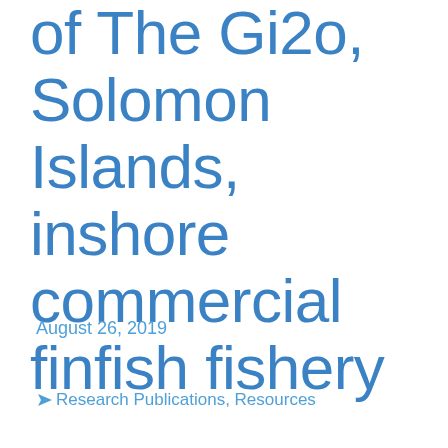of The Gi2o, Solomon Islands, inshore commercial finfish fishery
August 26, 2019
Research Publications, Resources